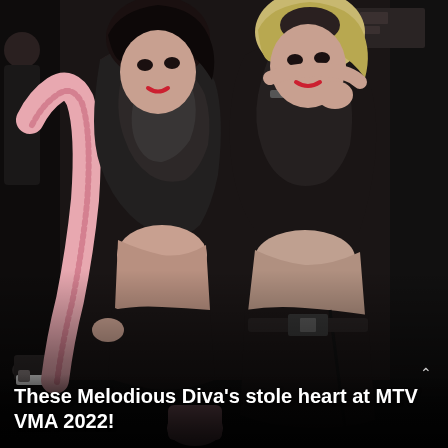[Figure (photo): Two young women posing together at what appears to be a dark indoor venue. The woman on the left wears a black leather crop top, black shorts, and a pink long-sleeve arm covering. The woman on the right wears an all-black outfit with a buckled skirt. Both have dark hair (one with light blonde highlights) and are posing with arms around each other.]
These Melodious Diva's stole heart at MTV VMA 2022!